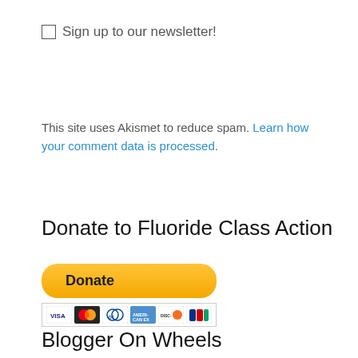Sign up to our newsletter!
This site uses Akismet to reduce spam. Learn how your comment data is processed.
Donate to Fluoride Class Action
[Figure (other): PayPal donate button with payment card icons (Visa, Mastercard, Diners Club, American Express, Discover, and another card)]
Blogger On Wheels